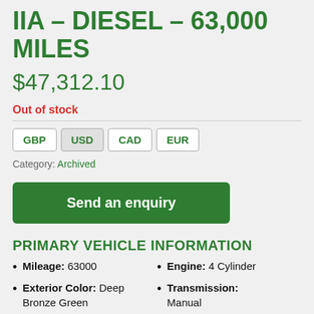IIA – DIESEL – 63,000 MILES
$47,312.10
Out of stock
GBP | USD | CAD | EUR
Category: Archived
Send an enquiry
PRIMARY VEHICLE INFORMATION
Mileage: 63000
Engine: 4 Cylinder
Exterior Color: Deep Bronze Green
Transmission: Manual